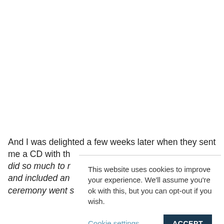And I was delighted a few weeks later when they sent me a CD with th did so much to r and included an ceremony went s
This website uses cookies to improve your experience. We'll assume you're ok with this, but you can opt-out if you wish.